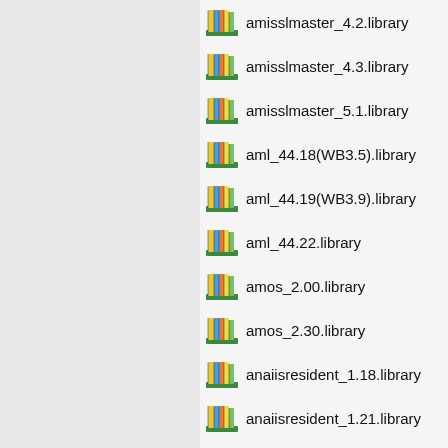amisslmaster_4.2.library
amisslmaster_4.3.library
amisslmaster_5.1.library
aml_44.18(WB3.5).library
aml_44.19(WB3.9).library
aml_44.22.library
amos_2.00.library
amos_2.30.library
anaiisresident_1.18.library
anaiisresident_1.21.library